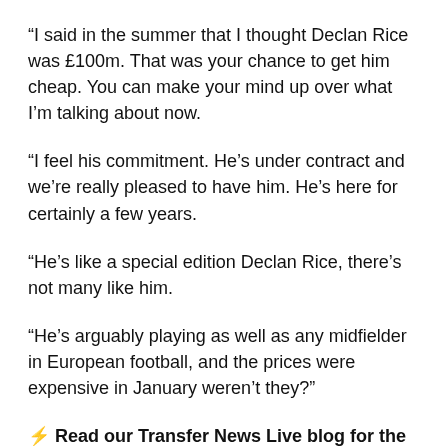“I said in the summer that I thought Declan Rice was £100m. That was your chance to get him cheap. You can make your mind up over what I’m talking about now.
“I feel his commitment. He’s under contract and we’re really pleased to have him. He’s here for certainly a few years.
“He’s like a special edition Declan Rice, there’s not many like him.
“He’s arguably playing as well as any midfielder in European football, and the prices were expensive in January weren’t they?”
⚡ Read our Transfer News Live blog for the very latest rumours, gossip and done deals